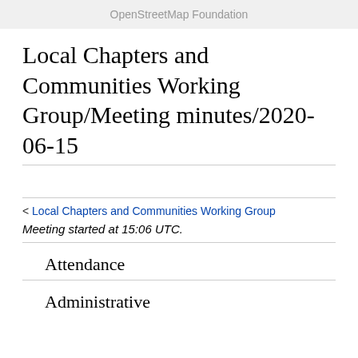OpenStreetMap Foundation
Local Chapters and Communities Working Group/Meeting minutes/2020-06-15
< Local Chapters and Communities Working Group
Meeting started at 15:06 UTC.
Attendance
Administrative